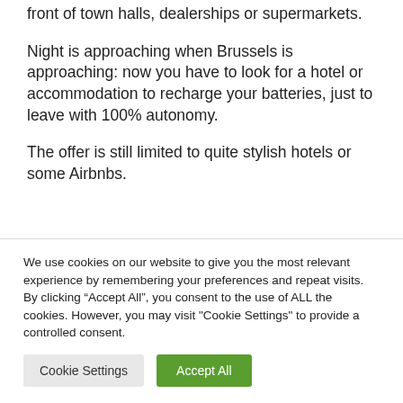front of town halls, dealerships or supermarkets.
Night is approaching when Brussels is approaching: now you have to look for a hotel or accommodation to recharge your batteries, just to leave with 100% autonomy.
The offer is still limited to quite stylish hotels or some Airbnbs.
We use cookies on our website to give you the most relevant experience by remembering your preferences and repeat visits. By clicking “Accept All”, you consent to the use of ALL the cookies. However, you may visit "Cookie Settings" to provide a controlled consent.